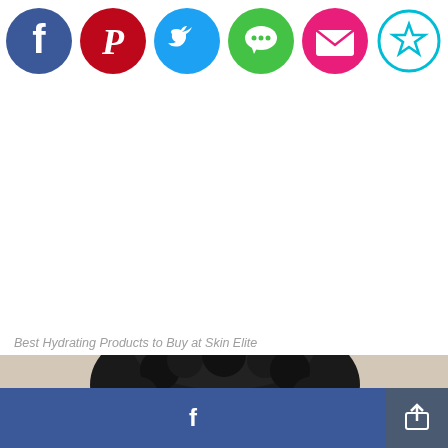[Figure (screenshot): Social media sharing icons row: Facebook (blue), Pinterest (red), Twitter (blue), Messaging (green), Email (pink/magenta), Save/Star (cyan outline)]
Best Hydrating Products to Buy at Skin Elite
[Figure (photo): Partial photo of a woman with curly black hair, cropped at bottom of page]
[Figure (screenshot): Bottom action bar with Facebook share button (blue) on left and share/export button (dark blue-gray) on right]